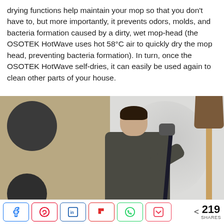drying functions help maintain your mop so that you don't have to, but more importantly, it prevents odors, molds, and bacteria formation caused by a dirty, wet mop-head (the OSOTEK HotWave uses hot 58°C air to quickly dry the mop head, preventing bacteria formation). In turn, once the OSOTEK HotWave self-dries, it can easily be used again to clean other parts of your house.
[Figure (photo): A man in a dark jacket using an OSOTEK HotWave mop, bending forward while holding the mop handle, with a wooden cabinet featuring circular cutouts on the left and a lamp on the right against a light gray wall.]
< 219 SHARES — social share buttons: Facebook, Pinterest, LinkedIn, Flipboard, WhatsApp, Pocket